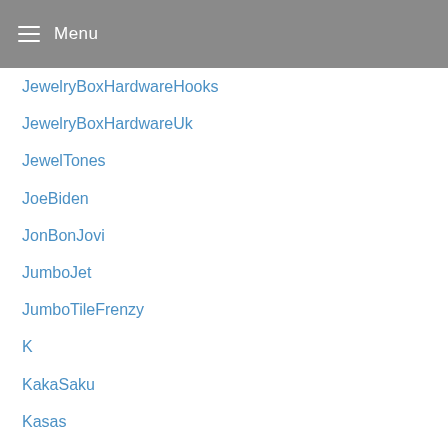Menu
JewelryBoxHardwareHooks
JewelryBoxHardwareUk
JewelTones
JoeBiden
JonBonJovi
JumboJet
JumboTileFrenzy
K
KakaSaku
Kasas
KBDNApril2021
KBDNOctober2019
KBIS2021
KellyInTheCity
Kennel
KennelUndSchmengerPantolette
KennelUndSchmengerSneaker